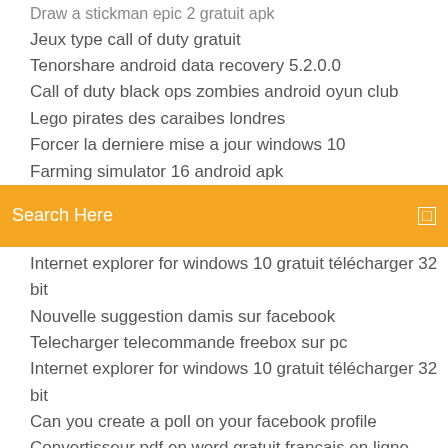Draw a stickman epic 2 gratuit apk
Jeux type call of duty gratuit
Tenorshare android data recovery 5.2.0.0
Call of duty black ops zombies android oyun club
Lego pirates des caraibes londres
Forcer la derniere mise a jour windows 10
Farming simulator 16 android apk
[Figure (screenshot): Orange search bar with text 'Search Here' and a small icon on the right]
Internet explorer for windows 10 gratuit télécharger 32 bit
Nouvelle suggestion damis sur facebook
Telecharger telecommande freebox sur pc
Internet explorer for windows 10 gratuit télécharger 32 bit
Can you create a poll on your facebook profile
Convertisseur pdf en word gratuit français en ligne
Convert mp4 to avi windows 10
Comment installer viber sur iphone 4 ios 7.1.2
Application pour telecharger des musique sans wifi
Macgo gratuit media player 媒体播放器
...